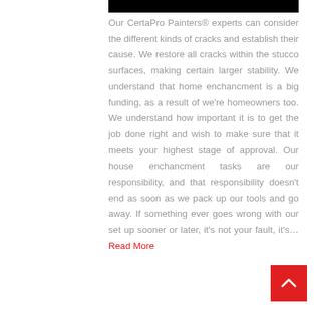[Figure (other): Black horizontal bar at the top of the content column]
Our CertaPro Painters® experts can consider the different kinds of cracks and establish their cause. We restore all cracks within the stucco surfaces, making certain larger stability. We understand that home enchancment is a big funding, as a result of we're homeowners too. We understand how important it is to get the job done right and wish to make sure that it meets your highest stage of approval. Our house enchancment tasks are our responsibility, and that responsibility doesn't end as soon as we pack up our tools and go away. If something ever goes wrong with our set up sooner or later, it's not your fault, it's… Read More